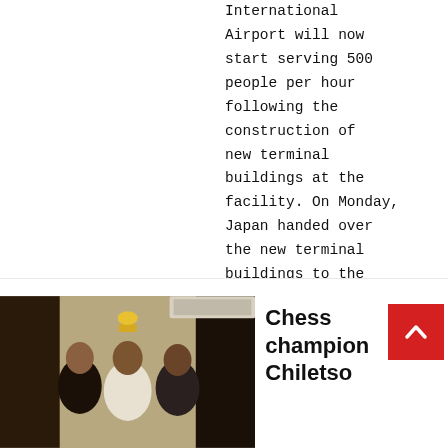International Airport will now start serving 500 people per hour following the construction of new terminal buildings at the facility. On Monday, Japan handed over the new terminal buildings to the Malawi Government. Principal... ...
[Figure (photo): People at an indoor gathering or ceremony, one person holding a trophy]
Chess champion Chiletso